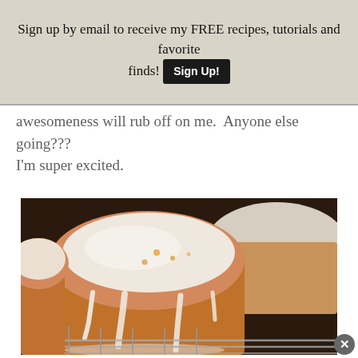Sign up by email to receive my FREE recipes, tutorials and favorite finds! Sign Up!
awesomeness will rub off on me.  Anyone else going???  I'm super excited.
[Figure (photo): Close-up photo of glazed mini pound cake loaves on a wire cooling rack, with white icing dripping down the sides of golden-brown cakes.]
[Figure (other): Close button (X icon) in lower right corner]